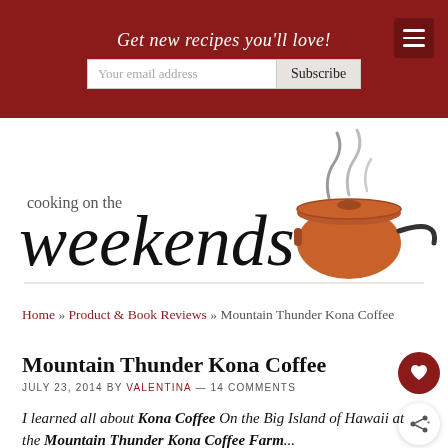Get new recipes you'll love!
[Figure (logo): Cooking on the Weekends logo with cursive text and illustrated pot with steam]
Home » Product & Book Reviews » Mountain Thunder Kona Coffee
Mountain Thunder Kona Coffee
JULY 23, 2014 BY VALENTINA — 14 COMMENTS
I learned all about Kona Coffee On the Big Island of Hawaii at the Mountain Thunder Kona Coffee Farm...